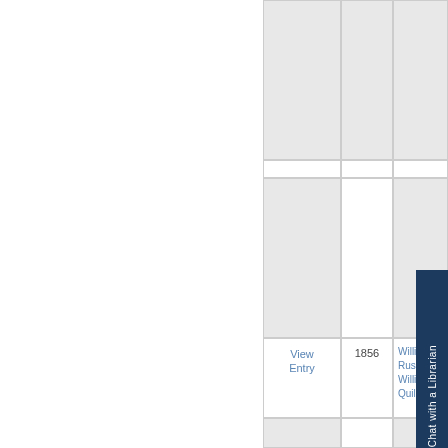| View Entry | Year | Name |
| --- | --- | --- |
| View Entry | 1856 | William ...
Russell v
William
Quillin |
[Figure (other): Dark navy blue vertical sidebar button reading 'Click Here to Chat with a Librarian']